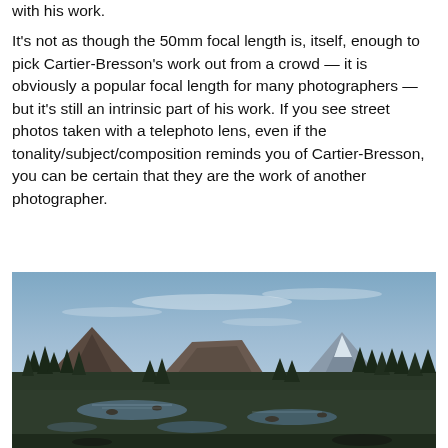with his work.

It's not as though the 50mm focal length is, itself, enough to pick Cartier-Bresson's work out from a crowd — it is obviously a popular focal length for many photographers — but it's still an intrinsic part of his work. If you see street photos taken with a telephoto lens, even if the tonality/subject/composition reminds you of Cartier-Bresson, you can be certain that they are the work of another photographer.
[Figure (photo): Wide panoramic landscape photograph taken at dusk or dawn showing mountains in the background, a treeline of dark conifers in the middle ground, and a reflective marshy alpine lake or meadow pool in the foreground, under a blue-grey cloudy sky.]